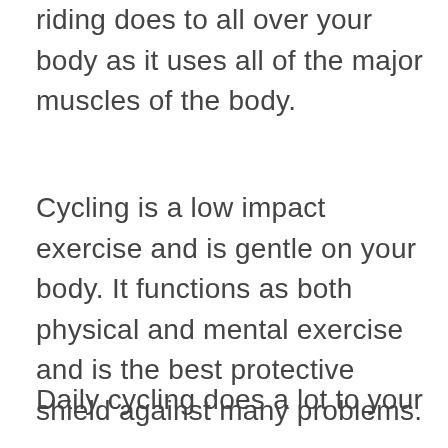riding does to all over your body as it uses all of the major muscles of the body.
Cycling is a low impact exercise and is gentle on your body. It functions as both physical and mental exercise and is the best protective shield against many problems.
Daily cycling does a lot to your